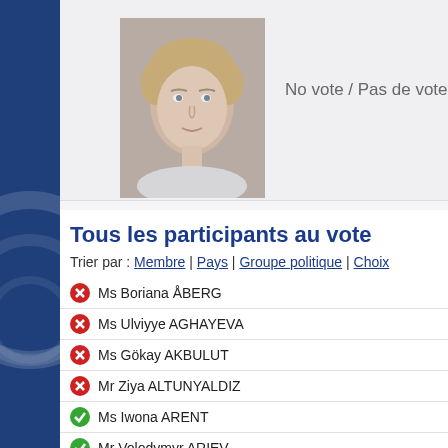[Figure (photo): Portrait photo of a blonde woman against a light background]
No vote / Pas de vote
Tous les participants au vote
Trier par : Membre | Pays | Groupe politique | Choix
Ms Boriana ÅBERG (no vote)
Ms Ulviyye AGHAYEVA (no vote)
Ms Gökay AKBULUT (no vote)
Mr Ziya ALTUNYALDIZ (no vote)
Ms Iwona ARENT (yes vote)
Mr Volodymyr ARIEV (yes vote)
Mr Marek AST (yes vote)
Mr Radovan BALÁŽ (no vote)